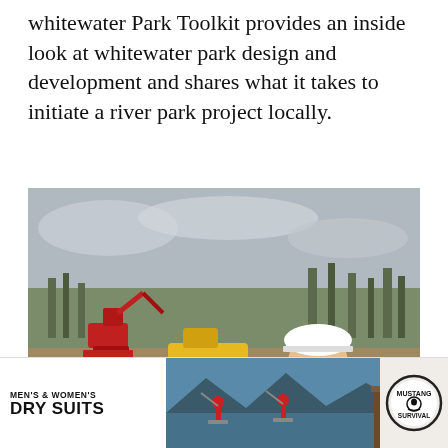Whitewater Park Toolkit provides an inside look at whitewater park design and development and shares what it takes to initiate a river park project locally.
[Figure (photo): A man in a yellow hi-vis jacket and white hard hat stands smiling at a river construction site with excavators, rock piles, and bare trees in the background.]
Advertisement
[Figure (photo): Advertisement banner showing people on paddleboards on a calm lake with mountains behind them, alongside text MEN'S & WOMEN'S DRY SUITS and a Mustang Survival logo.]